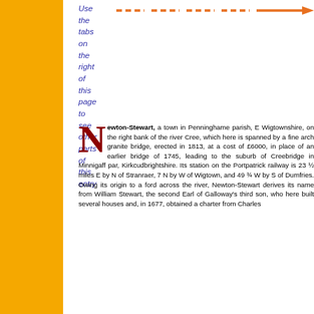[Figure (other): Orange dashed arrow pointing right, indicating navigation tabs on the right of the page]
Use the tabs on the right of this page to see other parts of this entry
Newton-Stewart, a town in Penninghame parish, E Wigtownshire, on the right bank of river Cree, which here is spanned by a fine arch granite bridge, erected in 1813, at a cost of £6000, in place of an earlier bridge of 1745, leading to the suburb of Creebridge in Minnigaff par, Kirkcudbrightshire. Its station on the Portpatrick railway is 23 ½ miles E by N of Stranraer, 7 N by W of Wigtown, and 49 ¾ W by S of Dumfries. Owing its origin to a ford across the river, Newton-Stewart derives its name from William Stewart, the second Earl of Galloway's third son, who here built several houses and, in 1677, obtained a charter from Charles